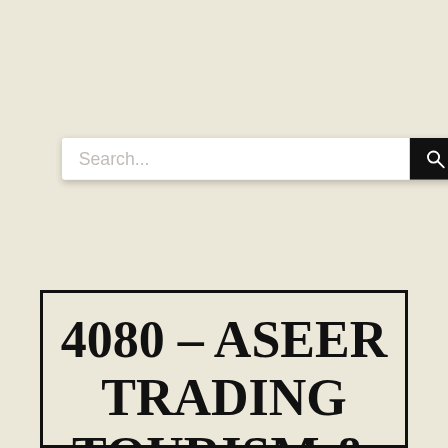[Figure (screenshot): Search bar with placeholder text 'Search...' and a black search button with magnifying glass icon]
4080 – ASEER TRADING TOURISM &